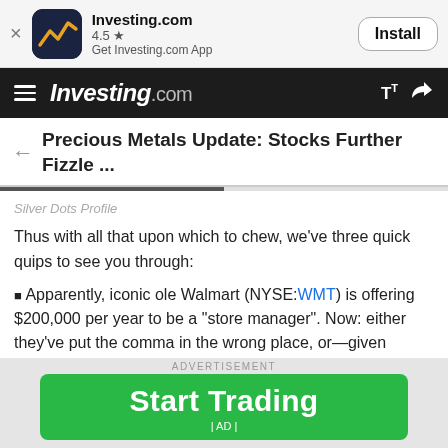[Figure (screenshot): Investing.com app banner with icon, rating 4.5 stars, and Install button]
Investing.com navigation bar with hamburger menu, Investing.com logo, text size and share icons
Precious Metals Update: Stocks Further Fizzle ...
Silver Dots Profile
Thus with all that upon which to chew, we've three quick quips to see you through:
Apparently, iconic ole Walmart (NYSE:WMT) is offering $200,000 per year to be a "store manager". Now: either they've put the comma in the wrong place, or—given stagflation—today's $200k is yesterday's $20k. Regardless, $200k is four times the average
ADVERTISEMENT
[Figure (other): Green Start Trading advertisement button with AD label]